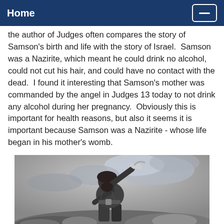Home
the author of Judges often compares the story of Samson's birth and life with the story of Israel.  Samson was a Nazirite, which meant he could drink no alcohol, could not cut his hair, and could have no contact with the dead.  I found it interesting that Samson's mother was commanded by the angel in Judges 13 today to not drink any alcohol during her pregnancy.  Obviously this is important for health reasons, but also it seems it is important because Samson was a Nazirite - whose life began in his mother's womb.
[Figure (illustration): Black and white engraving of Samson, a muscular bearded man wearing a head covering, raising his arm holding what appears to be a jawbone, with dramatic cloudy sky in the background.]